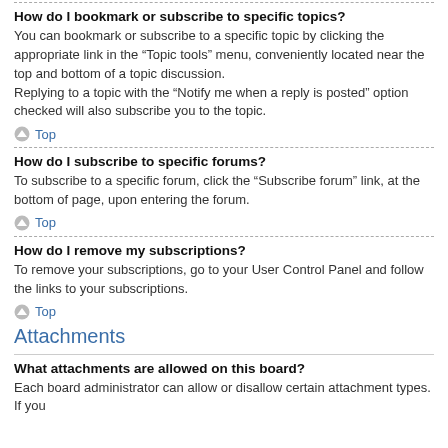How do I bookmark or subscribe to specific topics?
You can bookmark or subscribe to a specific topic by clicking the appropriate link in the “Topic tools” menu, conveniently located near the top and bottom of a topic discussion.
Replying to a topic with the “Notify me when a reply is posted” option checked will also subscribe you to the topic.
Top
How do I subscribe to specific forums?
To subscribe to a specific forum, click the “Subscribe forum” link, at the bottom of page, upon entering the forum.
Top
How do I remove my subscriptions?
To remove your subscriptions, go to your User Control Panel and follow the links to your subscriptions.
Top
Attachments
What attachments are allowed on this board?
Each board administrator can allow or disallow certain attachment types. If you